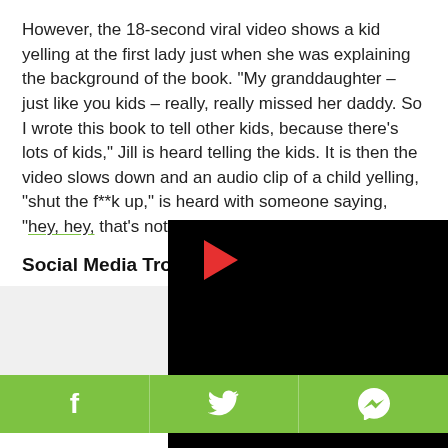However, the 18-second viral video shows a kid yelling at the first lady just when she was explaining the background of the book. "My granddaughter – just like you kids – really, really missed her daddy. So I wrote this book to tell other kids, because there's lots of kids," Jill is heard telling the kids. It is then the video slows down and an audio clip of a child yelling, "shut the f**k up," is heard with someone saying, "hey, hey, that's not nice."
Social Media Trolls First Lady
[Figure (screenshot): Advertisement overlay with close button (x) and video player showing a play button icon and loading spinner on black background]
The doctored video was but also led many to beli